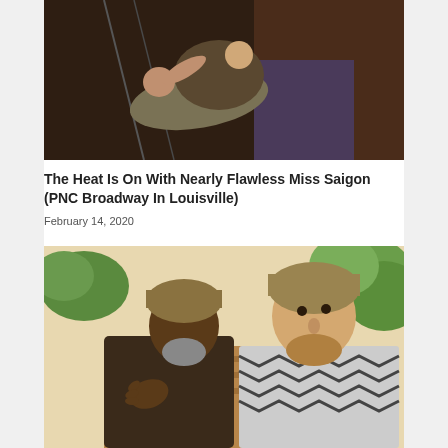[Figure (photo): theatrical stage photo showing two performers on stairs in dim lighting, one lying back on the other]
The Heat Is On With Nearly Flawless Miss Saigon (PNC Broadway In Louisville)
February 14, 2020
[Figure (photo): two male performers in Middle Eastern or South Asian costumes with head wraps, one gesturing with hand, standing in front of foliage backdrop]